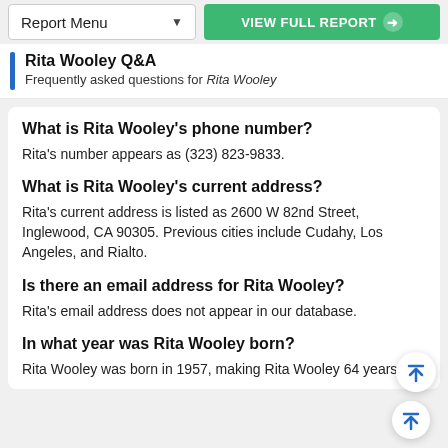Report Menu | VIEW FULL REPORT
Rita Wooley Q&A — Frequently asked questions for Rita Wooley
What is Rita Wooley's phone number?
Rita's number appears as (323) 823-9833.
What is Rita Wooley's current address?
Rita's current address is listed as 2600 W 82nd Street, Inglewood, CA 90305. Previous cities include Cudahy, Los Angeles, and Rialto.
Is there an email address for Rita Wooley?
Rita's email address does not appear in our database.
In what year was Rita Wooley born?
Rita Wooley was born in 1957, making Rita Wooley 64 years old.